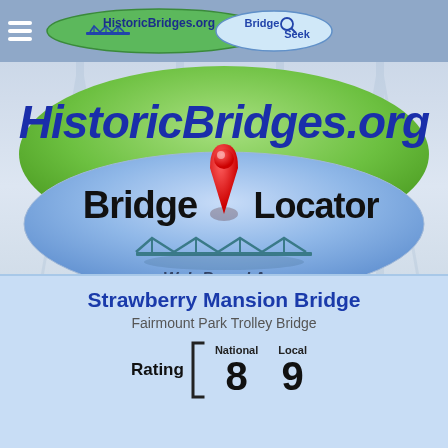HistoricBridges.org | Bridge Seek
[Figure (logo): HistoricBridges.org Bridge Locator Web-Based App logo — green oval with blue italic text 'HistoricBridges.org', overlapping blue oval with black bold text 'Bridge Locator', red map pin icon, teal bridge truss graphic, italic text 'Web-Based App']
Nearby Bridges: 6
Browse In Google Maps - Browse In OpenStreet Maps
Strawberry Mansion Bridge
Fairmount Park Trolley Bridge
Rating [ National 8  Local 9